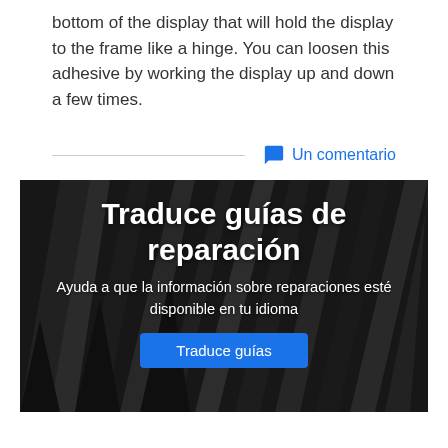bottom of the display that will hold the display to the frame like a hinge. You can loosen this adhesive by working the display up and down a few times.
Un comentario
[Figure (illustration): Dark background banner image with diagonal pencils in black and white, containing bold Spanish text 'Traduce guías de reparación', subtitle 'Ayuda a que la información sobre reparaciones esté disponible en tu idioma', and a blue 'Traduce guías' button.]